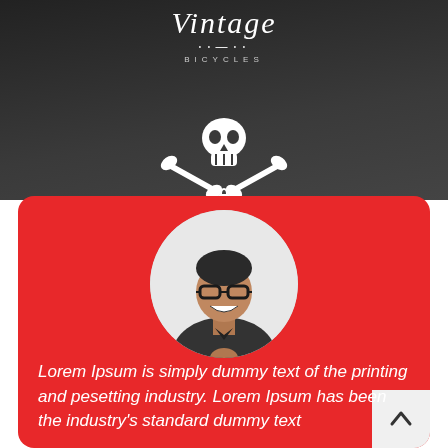[Figure (logo): Vintage Bicycles logo with italic script text, chain icon, and decorative skull and crossbones emblem on dark background]
Lorem Ipsum is simply dummy text of the printing and pesetting industry. Lorem Ipsum has been the industry's standard dummy text